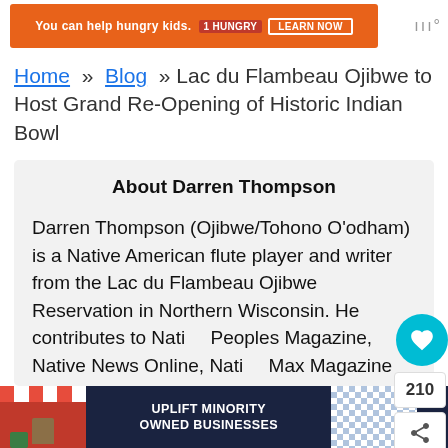[Figure (screenshot): Orange ad banner at top: 'You can help hungry kids. LEARN NOW']
Home » Blog » Lac du Flambeau Ojibwe to Host Grand Re-Opening of Historic Indian Bowl
About Darren Thompson
Darren Thompson (Ojibwe/Tohono O'odham) is a Native American flute player and writer from the Lac du Flambeau Ojibwe Reservation in Northern Wisconsin. He contributes to Native Peoples Magazine, Native News Online, Native Max Magazine and Powwows.com. For more information please visit
[Figure (screenshot): Bottom ad banner: UPLIFT MINORITY OWNED BUSINESSES on dark blue background with store illustration]